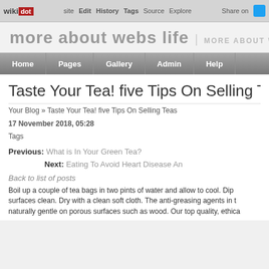wikidot | Edit | History | Tags | Source | Explore | Share on [twitter]
more about webs life | MORE ABOUT WEBS LIFE
Home | Pages | Gallery | Admin | Help
Taste Your Tea! five Tips On Selling Teas
Your Blog » Taste Your Tea! five Tips On Selling Teas
17 November 2018, 05:28
Tags
Previous: What is In Your Green Tea?
Next: Eating To Avoid Heart Disease An
Back to list of posts
Boil up a couple of tea bags in two pints of water and allow to cool. Dip surfaces clean. Dry with a clean soft cloth. The anti-greasing agents in t naturally gentle on porous surfaces such as wood. Our top quality, ethica